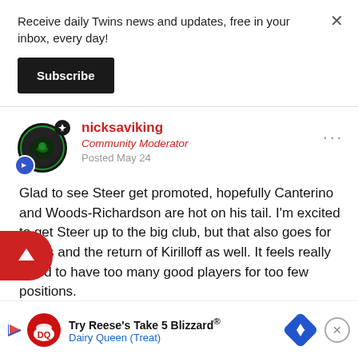Receive daily Twins news and updates, free in your inbox, every day!
Subscribe
nicksaviking
Community Moderator
Posted May 24
Glad to see Steer get promoted, hopefully Canterino and Woods-Richardson are hot on his tail. I'm excited to get Steer up to the big club, but that also goes for Lewis and the return of Kirilloff as well. It feels really weird to have too many good players for too few positions.
[Figure (other): Dairy Queen advertisement banner: Try Reese's Take 5 Blizzard - Dairy Queen (Treat)]